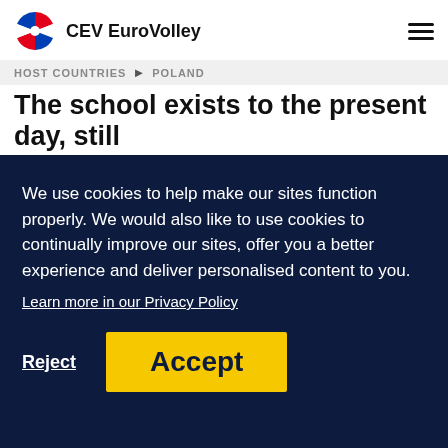CEV EuroVolley
HOST COUNTRIES ▶ POLAND
The school exists to the present day, still training new generations of actors, directors and operators. The studios of Łódź have been winning numerous national and international awards. We can be proud of sporting champions too. Two athletes from its oldest club — ŁKS Łódź — have left their mark on history: high jumper, Mieczysław Łopatka, and basketball player, Marian Kondrat, on Was basketball player. Zbigniew Boniek,
We use cookies to help make our sites function properly. We would also like to use cookies to continually improve our sites, offer you a better experience and deliver personalised content to you.
Learn more in our Privacy Policy
Reject
Accept